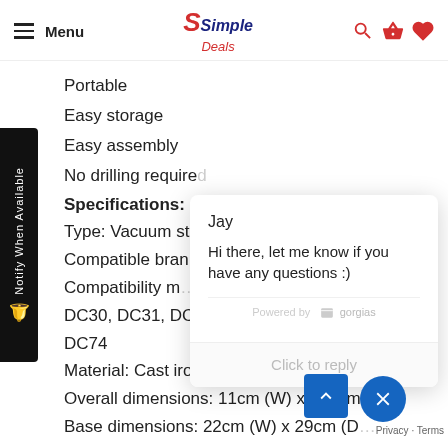Menu | Simple Deals
Portable
Easy storage
Easy assembly
No drilling required
Specifications:
Type: Vacuum st...
Compatible bran...
Compatibility m...
DC30, DC31, DC3...
DC74
Material: Cast iron
Overall dimensions: 11cm (W) x 127cm...
Base dimensions: 22cm (W) x 29cm (D)...
Installation: Freestanding
[Figure (screenshot): Chat popup with agent Jay saying: Hi there, let me know if you have any questions :). Powered by gorgias. Click to reply input area.]